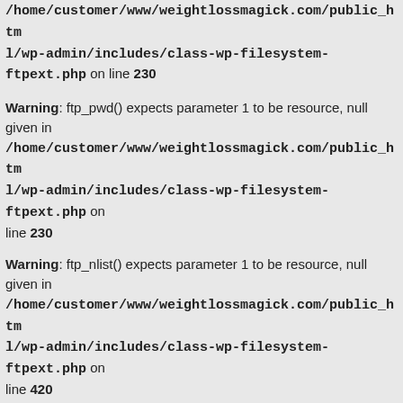/home/customer/www/weightlossmagick.com/public_html/wp-admin/includes/class-wp-filesystem-ftpext.php on line 230
Warning: ftp_pwd() expects parameter 1 to be resource, null given in /home/customer/www/weightlossmagick.com/public_html/wp-admin/includes/class-wp-filesystem-ftpext.php on line 230
Warning: ftp_nlist() expects parameter 1 to be resource, null given in /home/customer/www/weightlossmagick.com/public_html/wp-admin/includes/class-wp-filesystem-ftpext.php on line 420
Warning: ftp_pwd() expects parameter 1 to be resource, null given in